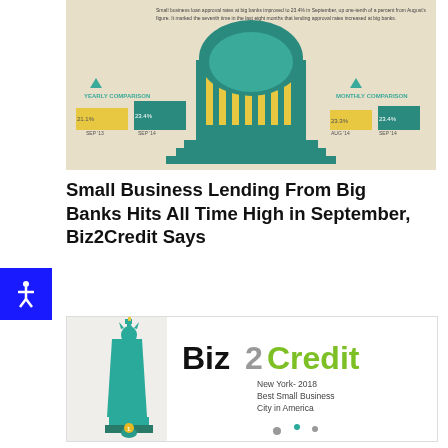[Figure (infographic): Small business loan infographic showing a government building dome with yearly and monthly comparison bars. Background is beige/cream. Teal and yellow bar charts visible on left and right sides.]
Small Business Lending From Big Banks Hits All Time High in September, Biz2Credit Says
[Figure (infographic): Biz2Credit logo infographic showing the Statue of Liberty in teal color on the left. Text reads 'Biz2Credit' with '2' in gray and 'Credit' in green. Below: 'New York- 2018 Best Small Business City in America'. Map pin icon at base of statue.]
NYC Rates Best for Small Business